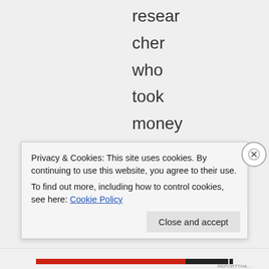researcher who took money from a suspect source has proper
Privacy & Cookies: This site uses cookies. By continuing to use this website, you agree to their use.
To find out more, including how to control cookies, see here: Cookie Policy
Close and accept